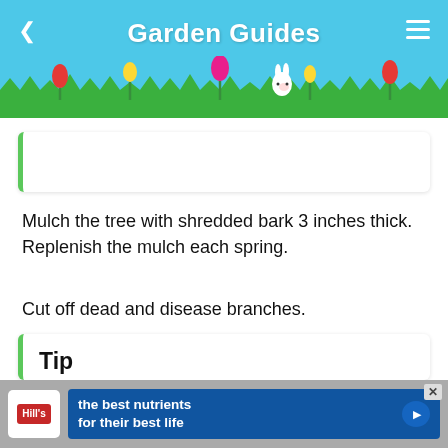Garden Guides
Mulch the tree with shredded bark 3 inches thick. Replenish the mulch each spring.
Cut off dead and disease branches.
Tip
Transplant in the spring, as the tulip tree does not tolerate fall transplanting well. The tulip tree prefers an acidic soil but does not require it. Tulip trees do not need to be pruned for sh...